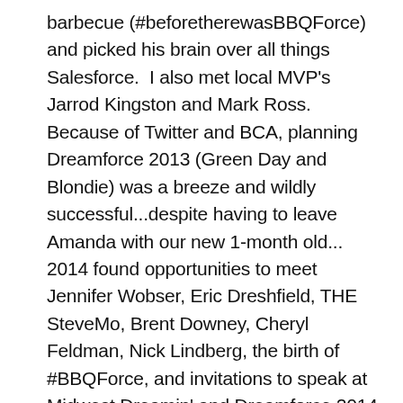barbecue (#beforetherewasBBQForce) and picked his brain over all things Salesforce. I also met local MVP's Jarrod Kingston and Mark Ross. Because of Twitter and BCA, planning Dreamforce 2013 (Green Day and Blondie) was a breeze and wildly successful...despite having to leave Amanda with our new 1-month old...  2014 found opportunities to meet Jennifer Wobser, Eric Dreshfield, THE SteveMo, Brent Downey, Cheryl Feldman, Nick Lindberg, the birth of #BBQForce, and invitations to speak at Midwest Dreamin' and Dreamforce 2014 (Bruno Mars...who I did not go see because I'm a lifelong Giants fan now living in Kansas City, which meant my brain was consumed with baseball in October!)